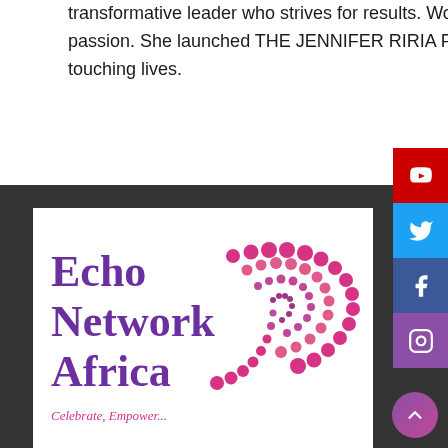transformative leader who strives for results. Working with and touching people's lives is her passion. She launched THE JENNIFER RIRIA FOUNDATION in 2016 to enhance her quest for touching lives.
[Figure (logo): Echo Network Africa logo — purple text with pink dotted decorative swirl pattern]